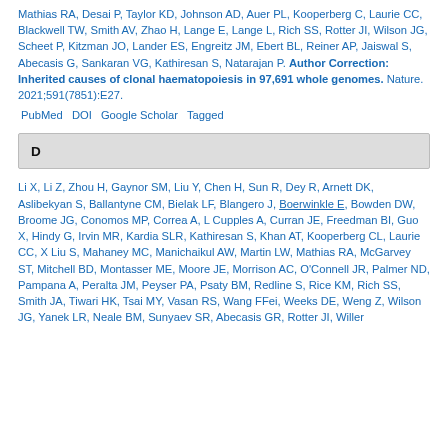Mathias RA, Desai P, Taylor KD, Johnson AD, Auer PL, Kooperberg C, Laurie CC, Blackwell TW, Smith AV, Zhao H, Lange E, Lange L, Rich SS, Rotter JI, Wilson JG, Scheet P, Kitzman JO, Lander ES, Engreitz JM, Ebert BL, Reiner AP, Jaiswal S, Abecasis G, Sankaran VG, Kathiresan S, Natarajan P. Author Correction: Inherited causes of clonal haematopoiesis in 97,691 whole genomes. Nature. 2021;591(7851):E27.
PubMed DOI Google Scholar Tagged
D
Li X, Li Z, Zhou H, Gaynor SM, Liu Y, Chen H, Sun R, Dey R, Arnett DK, Aslibekyan S, Ballantyne CM, Bielak LF, Blangero J, Boerwinkle E, Bowden DW, Broome JG, Conomos MP, Correa A, L Cupples A, Curran JE, Freedman BI, Guo X, Hindy G, Irvin MR, Kardia SLR, Kathiresan S, Khan AT, Kooperberg CL, Laurie CC, X Liu S, Mahaney MC, Manichaikul AW, Martin LW, Mathias RA, McGarvey ST, Mitchell BD, Montasser ME, Moore JE, Morrison AC, O'Connell JR, Palmer ND, Pampana A, Peralta JM, Peyser PA, Psaty BM, Redline S, Rice KM, Rich SS, Smith JA, Tiwari HK, Tsai MY, Vasan RS, Wang FFei, Weeks DE, Weng Z, Wilson JG, Yanek LR, Neale BM, Sunyaev SR, Abecasis GR, Rotter JI, Willer